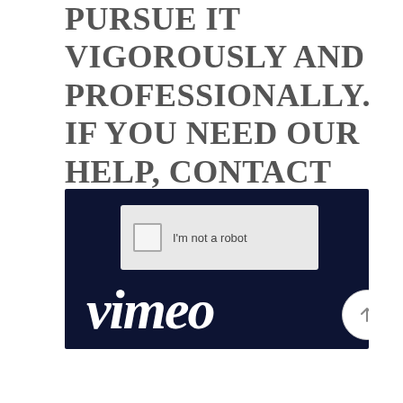PURSUE IT VIGOROUSLY AND PROFESSIONALLY. IF YOU NEED OUR HELP, CONTACT US NOW.
[Figure (screenshot): Screenshot showing a reCAPTCHA 'I'm not a robot' checkbox widget on a dark navy blue background with the Vimeo logo in white italic text at the bottom, and a circular white scroll-to-top button in the bottom right corner.]